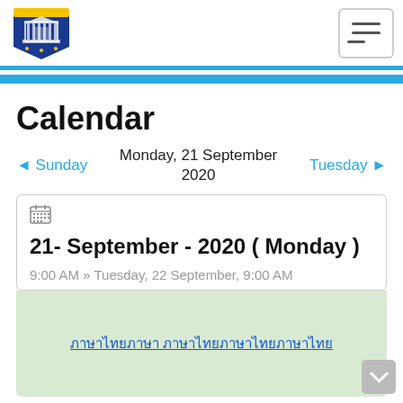Calendar page header with government logo and navigation menu
Calendar
◄ Sunday   Monday, 21 September 2020   Tuesday ►
21- September - 2020 ( Monday )
9:00 AM » Tuesday, 22 September, 9:00 AM
ภาษาไทย ภาษาไทยภาษาไทยภาษาไทย